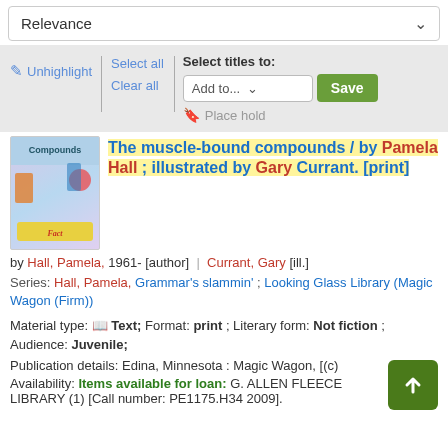Relevance
✏ Unhighlight | Select titles to:
Select all
Add to... Save
Clear all
Place hold
[Figure (illustration): Book cover for 'The muscle-bound compounds' showing cartoon characters on a colorful background with the word 'Compounds' at top]
The muscle-bound compounds / by Pamela Hall ; illustrated by Gary Currant. [print]
by Hall, Pamela, 1961- [author] | Currant, Gary [ill.]
Series: Hall, Pamela, Grammar's slammin' ; Looking Glass Library (Magic Wagon (Firm))
Material type: Text; Format: print ; Literary form: Not fiction ; Audience: Juvenile;
Publication details: Edina, Minnesota : Magic Wagon, [(c)
Availability: Items available for loan: G. ALLEN FLEECE LIBRARY (1) [Call number: PE1175.H34 2009].